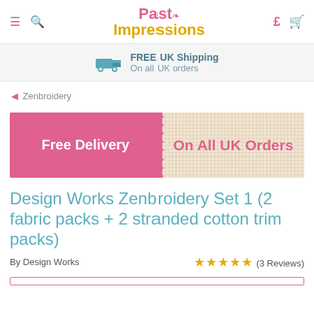Past Impressions
FREE UK Shipping On all UK orders
◄ Zenbroidery
[Figure (infographic): Promotional banner split into two halves: left pink section reads 'Free Delivery', right fabric-textured section reads 'On All UK Orders' in pink.]
Design Works Zenbroidery Set 1 (2 fabric packs + 2 stranded cotton trim packs)
By Design Works ★★★★★ (3 Reviews)